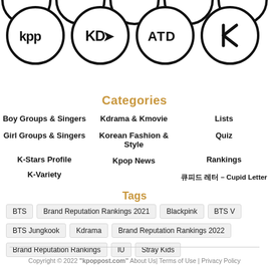[Figure (logo): Row of partially visible circular logos at top, and four circular logos: KPP, KD, ATD, K]
Categories
Boy Groups & Singers
Kdrama & Kmovie
Lists
Girl Groups & Singers
Korean Fashion & Style
Quiz
K-Stars Profile
Kpop News
Rankings
K-Variety
큐피드 레터 – Cupid Letter
Tags
BTS
Brand Reputation Rankings 2021
Blackpink
BTS V
BTS Jungkook
Kdrama
Brand Reputation Rankings 2022
Brand Reputation Rankings
IU
Stray Kids
Copyright © 2022 "kpoppost.com" About Us| Terms of Use | Privacy Policy